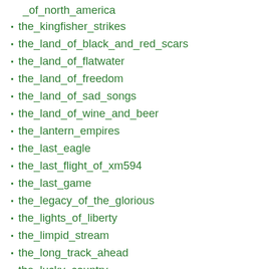_of_north_america
the_kingfisher_strikes
the_land_of_black_and_red_scars
the_land_of_flatwater
the_land_of_freedom
the_land_of_sad_songs
the_land_of_wine_and_beer
the_lantern_empires
the_last_eagle
the_last_flight_of_xm594
the_last_game
the_legacy_of_the_glorious
the_lights_of_liberty
the_limpid_stream
the_long_track_ahead
the_lucky_country
the_lucky_mariage
the_lunar_dream
the_maldives
the_man_from_sao_paulo_-_senna_to_williams